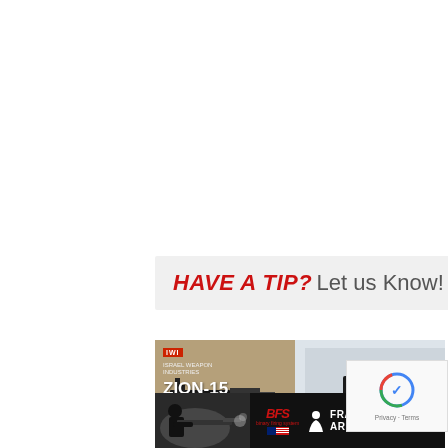[Figure (infographic): Call-to-action banner with gray background reading 'HAVE A TIP? Let us Know!' where 'HAVE A TIP?' is in bold red italic and 'Let us Know!' is in gray]
[Figure (photo): IWI Zion-15 Rifle advertisement with tan/desert background showing rifle silhouette and text 'IWI ZION-15 RIFLE']
[Figure (photo): Gray background advertisement showing a black pistol (Glock-style handgun) from the side]
[Figure (photo): Franklin Armory advertisement banner with black background, person shooting rifle on left, BFS logo and Franklin Armory text/logo on right]
[Figure (other): Google reCAPTCHA privacy badge in bottom right corner showing reCAPTCHA logo and 'Privacy - Terms' text]